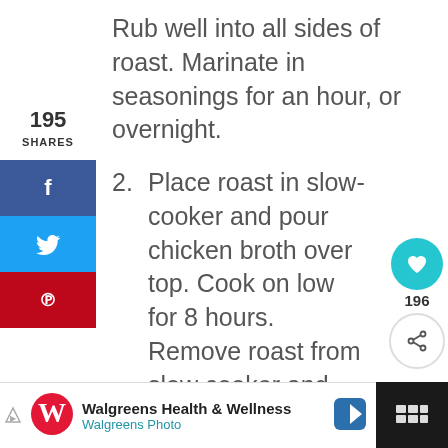Rub well into all sides of roast. Marinate in seasonings for an hour, or overnight.
2. Place roast in slow-cooker and pour chicken broth over top. Cook on low for 8 hours. Remove roast from slow cooker and discard all but a 1/2 cup of juices. Slice or shred roast and return t crockpot. Whisk remaining
[Figure (other): Social share sidebar with 195 shares count, Facebook (blue), Twitter (light blue), and Pinterest (red) share buttons]
[Figure (other): Floating action buttons: teal heart button, 196 count, and share button]
[Figure (other): Walgreens Health & Wellness advertisement banner at bottom]